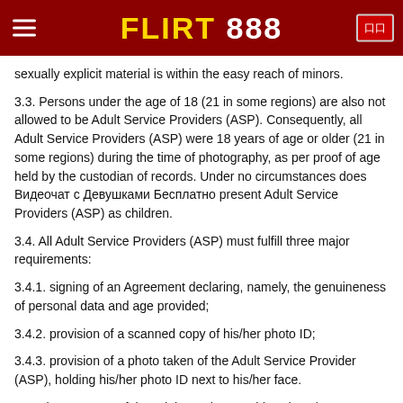FLIRT 888
sexually explicit material is within the easy reach of minors.
3.3. Persons under the age of 18 (21 in some regions) are also not allowed to be Adult Service Providers (ASP). Consequently, all Adult Service Providers (ASP) were 18 years of age or older (21 in some regions) during the time of photography, as per proof of age held by the custodian of records. Under no circumstances does Видеочат с Девушками Бесплатно present Adult Service Providers (ASP) as children.
3.4. All Adult Service Providers (ASP) must fulfill three major requirements:
3.4.1. signing of an Agreement declaring, namely, the genuineness of personal data and age provided;
3.4.2. provision of a scanned copy of his/her photo ID;
3.4.3. provision of a photo taken of the Adult Service Provider (ASP), holding his/her photo ID next to his/her face.
3.5. The accounts of the Adult Service Providers (ASP) are immediately and permanently suspended if they violate Видеочат с Девушками Бесплатно's principles.
3.6. At Видеочат с Девушками Бесплатно there is a zero tolerance policy related to child pornography (written or visual). In case of the